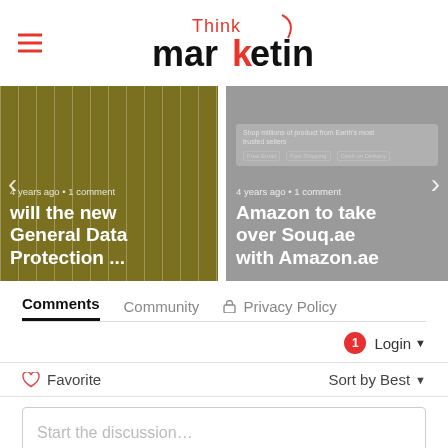Think marketing — site header with hamburger menu and logo
[Figure (screenshot): Two article cards in a carousel. Left card: dark olive/yellow-green background with text '4 years ago • 1 comment' and headline 'will the new General Data Protection ...' Right card: gray background with text '4 years ago • 1 comment' and headline 'Amazon to take over Souq.ae with Amazon.ae']
Comments   Community   🔒 Privacy Policy
Login ▾
♡ Favorite   Sort by Best ▾
Start the discussion…
LOG IN WITH
[Figure (illustration): Social login icons: Twitter (blue), Facebook (dark blue), another blue icon, Google/red icon]